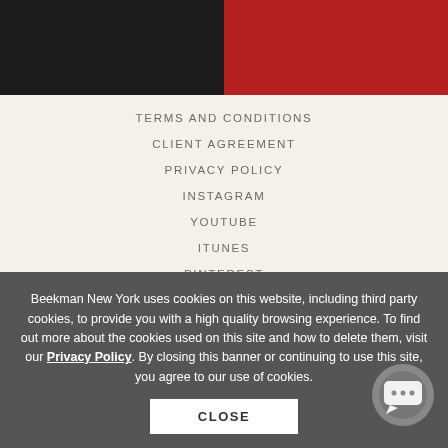[Figure (photo): Two-panel photo strip: left panel shows dark/black clothing, right panel shows red clothing]
TERMS AND CONDITIONS
CLIENT AGREEMENT
PRIVACY POLICY
INSTAGRAM
YOUTUBE
ITUNES
PINTEREST
FAQ
MEMBERSHIP
NEWSLETTER
PRESS
Beekman New York uses cookies on this website, including third party cookies, to provide you with a high quality browsing experience. To find out more about the cookies used on this site and how to delete them, visit our Privacy Policy. By closing this banner or continuing to use this site, you agree to our use of cookies.
CLOSE